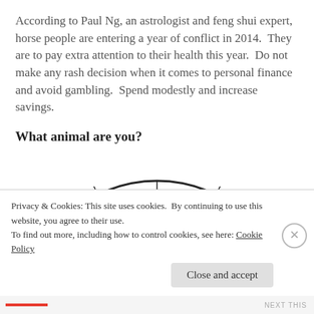According to Paul Ng, an astrologist and feng shui expert, horse people are entering a year of conflict in 2014.  They are to pay extra attention to their health this year.  Do not make any rash decision when it comes to personal finance and avoid gambling.  Spend modestly and increase savings.
What animal are you?
[Figure (illustration): Half-circle Chinese zodiac wheel showing animal signs including Rat, Pig, Ox, and Dog with their corresponding years (1935, 1936, 1947, 1948). Animals depicted as golden silhouettes in pie-slice segments.]
Privacy & Cookies: This site uses cookies. By continuing to use this website, you agree to their use.
To find out more, including how to control cookies, see here: Cookie Policy
Close and accept